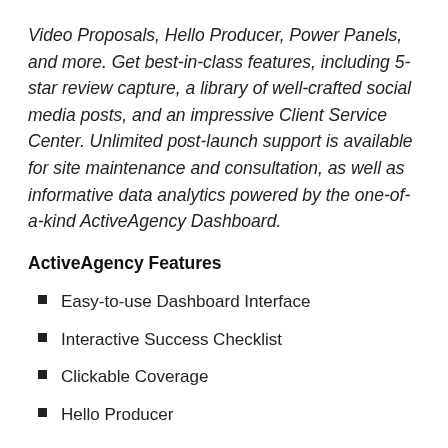Video Proposals, Hello Producer, Power Panels, and more. Get best-in-class features, including 5-star review capture, a library of well-crafted social media posts, and an impressive Client Service Center. Unlimited post-launch support is available for site maintenance and consultation, as well as informative data analytics powered by the one-of-a-kind ActiveAgency Dashboard.
ActiveAgency Features
Easy-to-use Dashboard Interface
Interactive Success Checklist
Clickable Coverage
Hello Producer